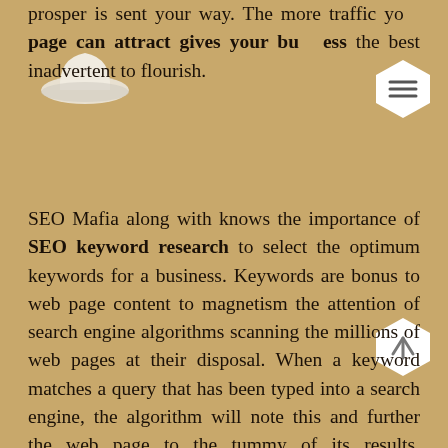prosper is sent your way. The more traffic your page can attract gives your business the best inadvertent to flourish.
SEO Mafia along with knows the importance of SEO keyword research to select the optimum keywords for a business. Keywords are bonus to web page content to magnetism the attention of search engine algorithms scanning the millions of web pages at their disposal. When a keyword matches a query that has been typed into a search engine, the algorithm will note this and further the web page to the tummy of its results. Identifying the keywords for your situation is vital and why we emphasise the